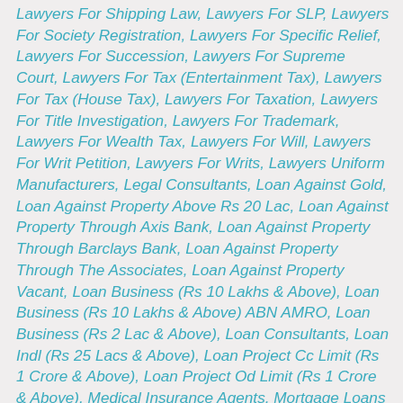Lawyers For Shipping Law, Lawyers For SLP, Lawyers For Society Registration, Lawyers For Specific Relief, Lawyers For Succession, Lawyers For Supreme Court, Lawyers For Tax (Entertainment Tax), Lawyers For Tax (House Tax), Lawyers For Taxation, Lawyers For Title Investigation, Lawyers For Trademark, Lawyers For Wealth Tax, Lawyers For Will, Lawyers For Writ Petition, Lawyers For Writs, Lawyers Uniform Manufacturers, Legal Consultants, Loan Against Gold, Loan Against Property Above Rs 20 Lac, Loan Against Property Through Axis Bank, Loan Against Property Through Barclays Bank, Loan Against Property Through The Associates, Loan Against Property Vacant, Loan Business (Rs 10 Lakhs & Above), Loan Business (Rs 10 Lakhs & Above) ABN AMRO, Loan Business (Rs 2 Lac & Above), Loan Consultants, Loan Indl (Rs 25 Lacs & Above), Loan Project Cc Limit (Rs 1 Crore & Above), Loan Project Od Limit (Rs 1 Crore & Above), Medical Insurance Agents, Mortgage Loans Kotak Mahindra, Muslim Lawyers, Non Banking Finance Company, Overseas Placement Services For Finance Companies (Candidate), Personal Accidental